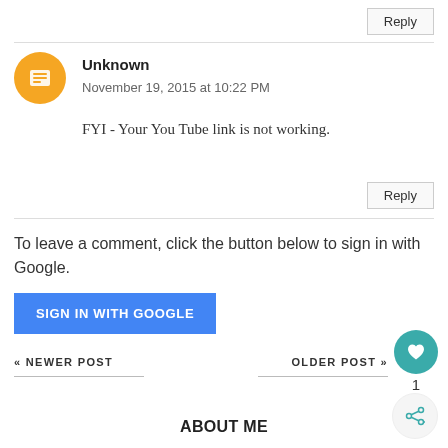Reply
Unknown
November 19, 2015 at 10:22 PM
FYI - Your You Tube link is not working.
Reply
To leave a comment, click the button below to sign in with Google.
SIGN IN WITH GOOGLE
« NEWER POST
OLDER POST »
ABOUT ME